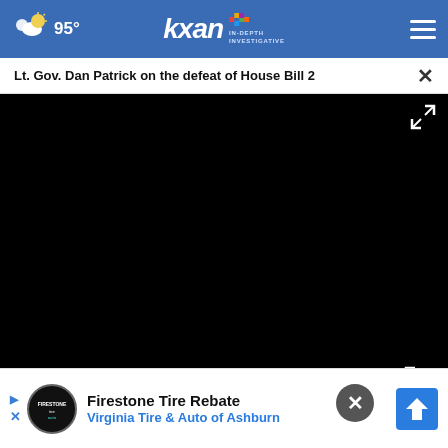95° kxan IN-DEPTH INVESTIGATIVE
Lt. Gov. Dan Patrick on the defeat of House Bill 2
[Figure (screenshot): Black video player area with playback controls (play button, mute button, fullscreen button) on a dark overlay at the bottom]
[Figure (other): Firestone / Virginia Tire & Auto advertisement banner with logo, Firestone Tire Rebate text, Virginia Tire & Auto of Ashburn, and a blue diamond road sign icon]